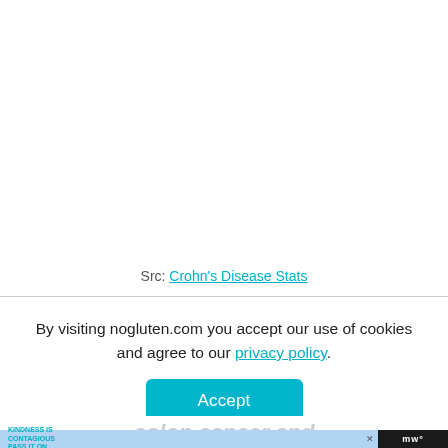Src: Crohn's Disease Stats
By visiting nogluten.com you accept our use of cookies and agree to our privacy policy.
Accept
Colon cancer and
KINDNESS IS CONTAGIOUS PASS IT ON